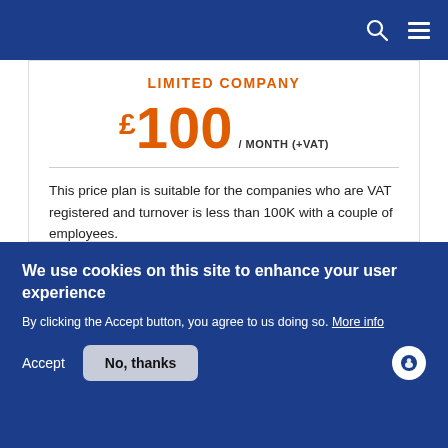LIMITED COMPANY
£100 / MONTH (+VAT)
This price plan is suitable for the companies who are VAT registered and turnover is less than 100K with a couple of employees.
Year-end accounts preparation and submission
Corporation Tax returns
We use cookies on this site to enhance your user experience
By clicking the Accept button, you agree to us doing so. More info
Accept
No, thanks